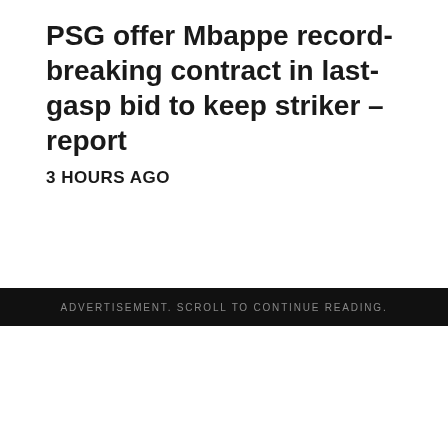PSG offer Mbappe record-breaking contract in last-gasp bid to keep striker – report
3 HOURS AGO
ADVERTISEMENT. SCROLL TO CONTINUE READING.